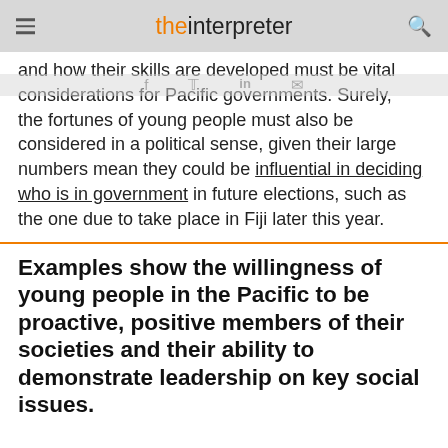the interpreter
and how their skills are developed must be vital considerations for Pacific governments. Surely, the fortunes of young people must also be considered in a political sense, given their large numbers mean they could be influential in deciding who is in government in future elections, such as the one due to take place in Fiji later this year.
Examples show the willingness of young people in the Pacific to be proactive, positive members of their societies and their ability to demonstrate leadership on key social issues.